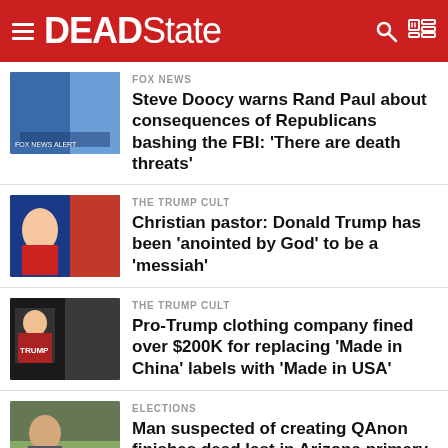DEADState
FOX NEWS
Steve Doocy warns Rand Paul about consequences of Republicans bashing the FBI: 'There are death threats'
THE TRUMP CULT
Christian pastor: Donald Trump has been 'anointed by God' to be a 'messiah'
THE TRUMP CULT
Pro-Trump clothing company fined over $200K for replacing 'Made in China' labels with 'Made in USA'
ELECTIONS
Man suspected of creating QAnon finishes dead last in Arizona primary race